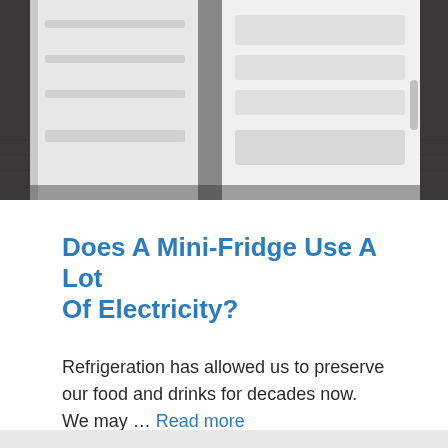[Figure (photo): Open mini-fridge with both doors open, showing interior shelves, photographed on a dark patterned carpet floor from above/front angle]
Does A Mini-Fridge Use A Lot Of Electricity?
Refrigeration has allowed us to preserve our food and drinks for decades now. We may … Read more
Kitchen Squad